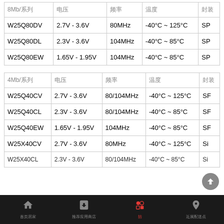| 8Mb/系列 | 电压 | 频率 | 温度 | 封装 |
| --- | --- | --- | --- | --- |
| W25Q80DV | 2.7V - 3.6V | 80MHz | -40°C ~ 125°C | SP |
| W25Q80DL | 2.3V - 3.6V | 104MHz | -40°C ~ 85°C | SP |
| W25Q80EW | 1.65V - 1.95V | 104MHz | -40°C ~ 85°C | SP |
| 4Mb/系列 | 电压 | 频率 | 温度 | 封装 |
| --- | --- | --- | --- | --- |
| W25Q40CV | 2.7V - 3.6V | 80/104MHz | -40°C ~ 125°C | SF |
| W25Q40CL | 2.3V - 3.6V | 80/104MHz | -40°C ~ 85°C | SF |
| W25Q40EW | 1.65V - 1.95V | 104MHz | -40°C ~ 85°C | SF |
| W25X40CV | 2.7V - 3.6V | 80MHz | -40°C ~ 125°C | Si |
| W25X40CL | 2.3V - 3.6V | 80/104MHz | -40°C ~ 85°C | Si |